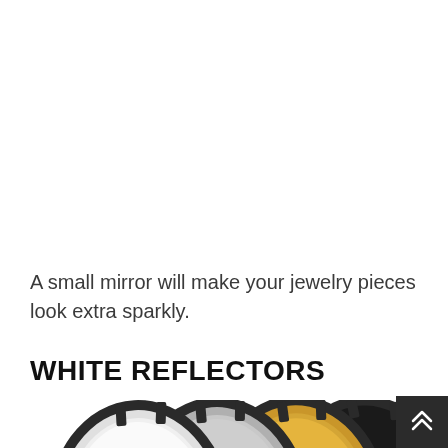A small mirror will make your jewelry pieces look extra sparkly.
WHITE REFLECTORS
[Figure (photo): Multiple circular reflector discs fanned out showing different surfaces: white/silver, textured silver, gold, and black, with black metal spring frames visible at top]
[Figure (other): Dark scroll-to-top button with double chevron up arrows in bottom right corner]